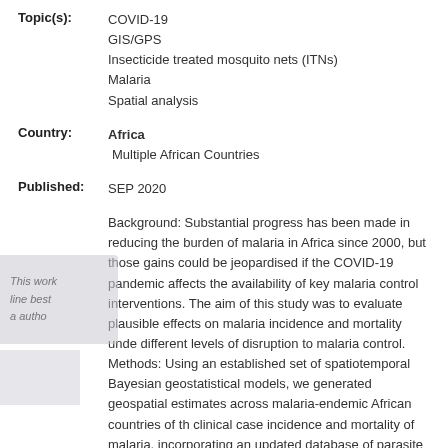Topic(s): COVID-19
GIS/GPS
Insecticide treated mosquito nets (ITNs)
Malaria
Spatial analysis
Country: Africa
Multiple African Countries
Published: SEP 2020
Background: Substantial progress has been made in reducing the burden of malaria in Africa since 2000, but those gains could be jeopardised if the COVID-19 pandemic affects the availability of key malaria control interventions. The aim of this study was to evaluate plausible effects on malaria incidence and mortality under different levels of disruption to malaria control. Methods: Using an established set of spatiotemporal Bayesian geostatistical models, we generated geospatial estimates across malaria-endemic African countries of the clinical case incidence and mortality of malaria, incorporating an updated database of parasite rate surveys, insecticide-treated net (ITN) coverage, and effective treatment rates. We established a baseline estimate for the anticipated malaria burden in Africa in th